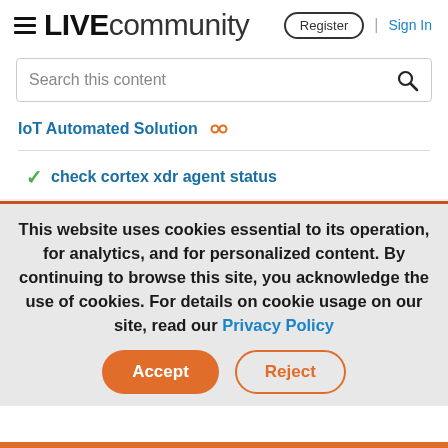≡ LIVEcommunity   Register | Sign In
Search this content
IoT Automated Solution
✓ check cortex xdr agent status
This website uses cookies essential to its operation, for analytics, and for personalized content. By continuing to browse this site, you acknowledge the use of cookies. For details on cookie usage on our site, read our Privacy Policy
Accept   Reject